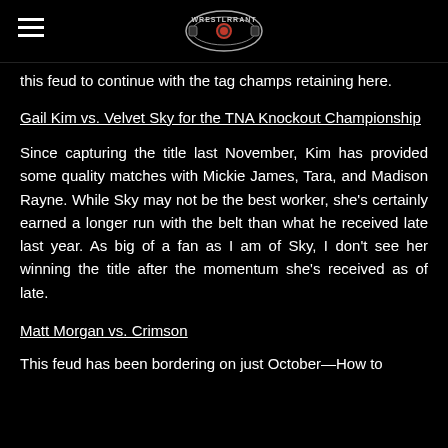Wrestlrrant [logo]
this feud to continue with the tag champs retaining here.
Gail Kim vs. Velvet Sky for the TNA Knockout Championship
Since capturing the title last November, Kim has provided some quality matches with Mickie James, Tara, and Madison Rayne. While Sky may not be the best worker, she's certainly earned a longer run with the belt than what he received late last year. As big of a fan as I am of Sky, I don't see her winning the title after the momentum she's received as of late.
Matt Morgan vs. Crimson
This feud has been bordering on just October—How to